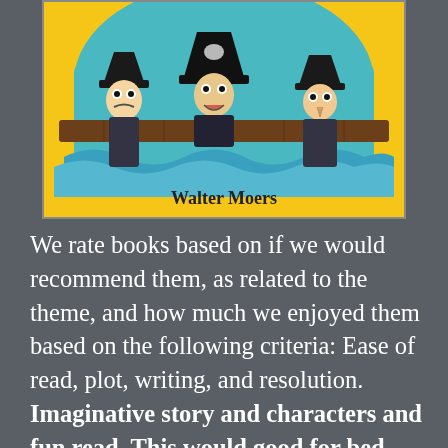[Figure (illustration): Book cover of a Walter Moers book with a yellow background showing three pirate-like characters with black tricorn hats peeking over a wooden boat railing above blue waves. The author name 'Walter Moers' is printed at the bottom of the cover.]
We rate books based on if we would recommend them, as related to the theme, and how much we enjoyed them based on the following criteria: Ease of read, plot, writing, and resolution. Imaginative story and characters and fun read. This would good for bed time stories, very creative perhaps too creative for its own good. There were good creative plots and everything paid off by the end of the book. Its suggested you get this